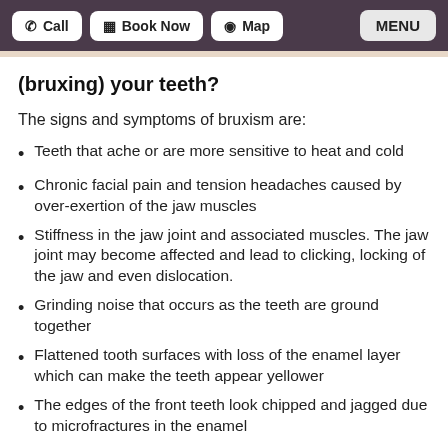Call | Book Now | Map | MENU
(bruxing) your teeth?
The signs and symptoms of bruxism are:
Teeth that ache or are more sensitive to heat and cold
Chronic facial pain and tension headaches caused by over-exertion of the jaw muscles
Stiffness in the jaw joint and associated muscles. The jaw joint may become affected and lead to clicking, locking of the jaw and even dislocation.
Grinding noise that occurs as the teeth are ground together
Flattened tooth surfaces with loss of the enamel layer which can make the teeth appear yellower
The edges of the front teeth look chipped and jagged due to microfractures in the enamel
Broken and chipped fillings